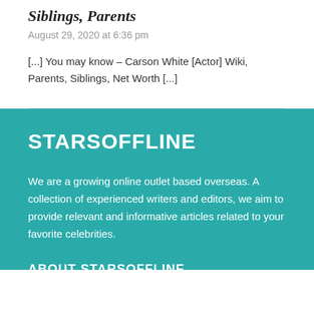Siblings, Parents
August 29, 2020 at 6:36 pm
[...] You may know – Carson White [Actor] Wiki, Parents, Siblings, Net Worth [...]
STARSOFFLINE
We are a growing online outlet based overseas. A collection of experienced writers and editors, we aim to provide relevant and informative articles related to your favorite celebrities.
ABOUT STARSOFFLINE